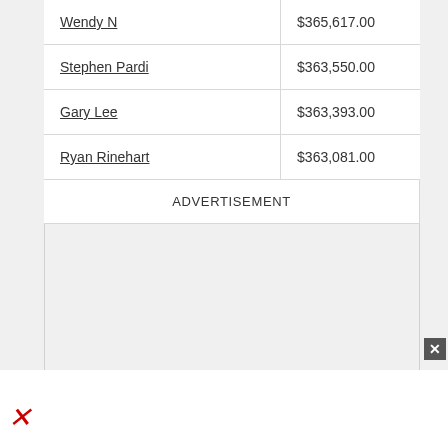| Name | Amount |
| --- | --- |
| Wendy N | $365,617.00 |
| Stephen Pardi | $363,550.00 |
| Gary Lee | $363,393.00 |
| Ryan Rinehart | $363,081.00 |
ADVERTISEMENT